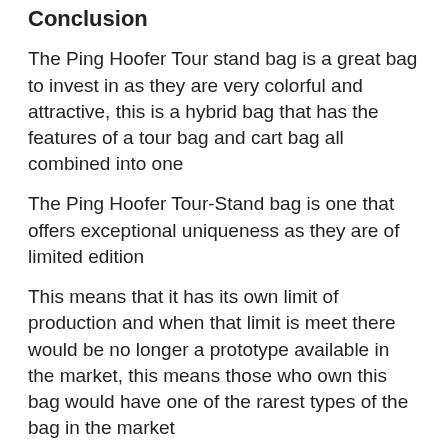Conclusion
The Ping Hoofer Tour stand bag is a great bag to invest in as they are very colorful and attractive, this is a hybrid bag that has the features of a tour bag and cart bag all combined into one
The Ping Hoofer Tour-Stand bag is one that offers exceptional uniqueness as they are of limited edition
This means that it has its own limit of production and when that limit is meet there would be no longer a prototype available in the market, this means those who own this bag would have one of the rarest types of the bag in the market